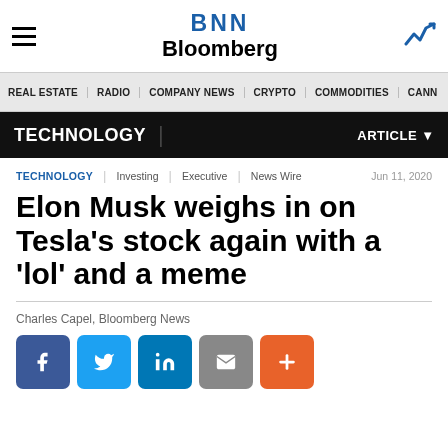BNN Bloomberg
REAL ESTATE | RADIO | COMPANY NEWS | CRYPTO | COMMODITIES | CANN
TECHNOLOGY | ARTICLE
TECHNOLOGY | Investing | Executive | News Wire | Jun 11, 2020
Elon Musk weighs in on Tesla's stock again with a 'lol' and a meme
Charles Capel, Bloomberg News